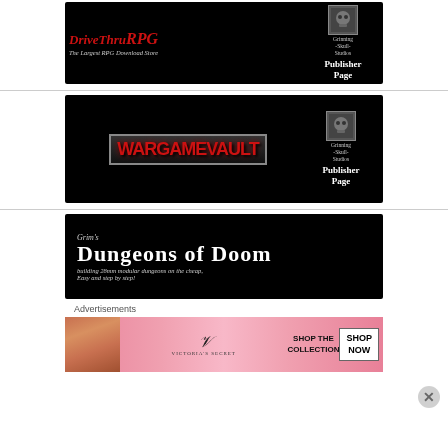[Figure (logo): DriveThruRPG banner ad with Grinning Skull Studios Publisher Page on black background]
[Figure (logo): Wargame Vault banner ad with Grinning Skull Studios Publisher Page on black background]
[Figure (logo): Grim's Dungeons of Doom banner - building 28mm modular dungeons on the cheap, Easy and step by step!]
Advertisements
[Figure (illustration): Victoria's Secret advertisement - Shop the Collection - Shop Now]